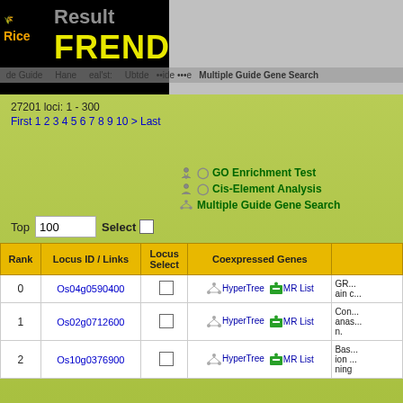RiceFREND Result — Multiple Guide Gene Search
27201 loci: 1 - 300
First 1 2 3 4 5 6 7 8 9 10 > Last
GO Enrichment Test
Cis-Element Analysis
Multiple Guide Gene Search
Top 100 Select
| Rank | Locus ID / Links | Locus Select | Coexpressed Genes |  |
| --- | --- | --- | --- | --- |
| 0 | Os04g0590400 |  | HyperTree  MR List | GR... ain c... |
| 1 | Os02g0712600 |  | HyperTree  MR List | Con... anas... n. |
| 2 | Os10g0376900 |  | HyperTree  MR List | Bas... ion ... ning |